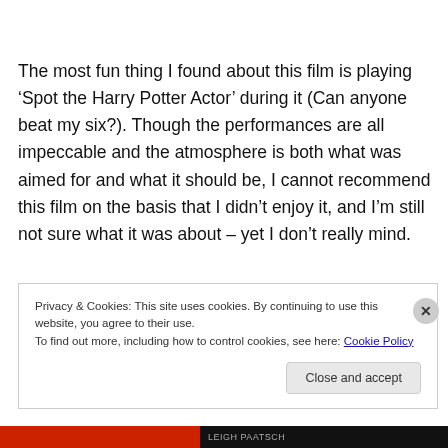The most fun thing I found about this film is playing ‘Spot the Harry Potter Actor’ during it (Can anyone beat my six?). Though the performances are all impeccable and the atmosphere is both what was aimed for and what it should be, I cannot recommend this film on the basis that I didn’t enjoy it, and I’m still not sure what it was about – yet I don’t really mind.
Privacy & Cookies: This site uses cookies. By continuing to use this website, you agree to their use.
To find out more, including how to control cookies, see here: Cookie Policy
Close and accept